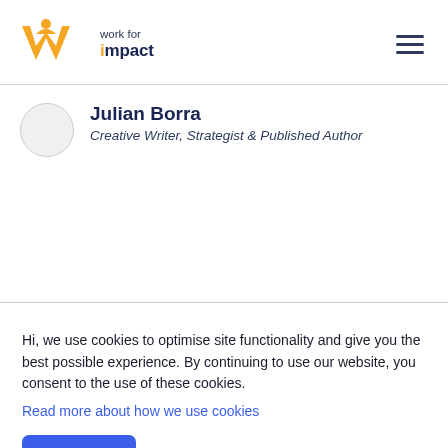[Figure (logo): Work for Impact logo with orange W icon and navy text 'work for impact']
Julian Borra
Creative Writer, Strategist & Published Author
Hi, we use cookies to optimise site functionality and give you the best possible experience. By continuing to use our website, you consent to the use of these cookies.
Read more about how we use cookies
Got it